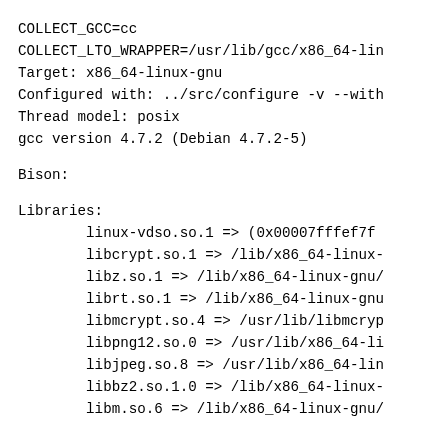COLLECT_GCC=cc
COLLECT_LTO_WRAPPER=/usr/lib/gcc/x86_64-lin
Target: x86_64-linux-gnu
Configured with: ../src/configure -v --with
Thread model: posix
gcc version 4.7.2 (Debian 4.7.2-5)
Bison:
Libraries:
linux-vdso.so.1 => (0x00007fffef7f
libcrypt.so.1 => /lib/x86_64-linux-
libz.so.1 => /lib/x86_64-linux-gnu/
librt.so.1 => /lib/x86_64-linux-gnu
libmcrypt.so.4 => /usr/lib/libmcryp
libpng12.so.0 => /usr/lib/x86_64-li
libjpeg.so.8 => /usr/lib/x86_64-lin
libbz2.so.1.0 => /lib/x86_64-linux-
libm.so.6 => /lib/x86_64-linux-gnu/